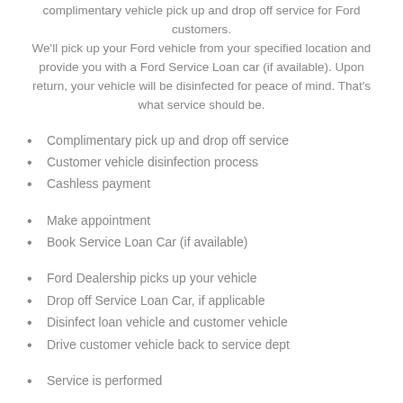complimentary vehicle pick up and drop off service for Ford customers. We'll pick up your Ford vehicle from your specified location and provide you with a Ford Service Loan car (if available). Upon return, your vehicle will be disinfected for peace of mind. That's what service should be.
Complimentary pick up and drop off service
Customer vehicle disinfection process
Cashless payment
Make appointment
Book Service Loan Car (if available)
Ford Dealership picks up your vehicle
Drop off Service Loan Car, if applicable
Disinfect loan vehicle and customer vehicle
Drive customer vehicle back to service dept
Service is performed